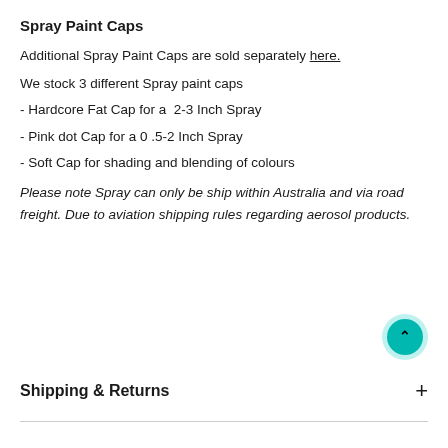Spray Paint Caps
Additional Spray Paint Caps are sold separately here.
We stock 3 different Spray paint caps
- Hardcore Fat Cap for a  2-3 Inch Spray
- Pink dot Cap for a 0 .5-2 Inch Spray
- Soft Cap for shading and blending of colours
Please note Spray can only be ship within Australia and via road freight. Due to aviation shipping rules regarding aerosol products.
Shipping & Returns